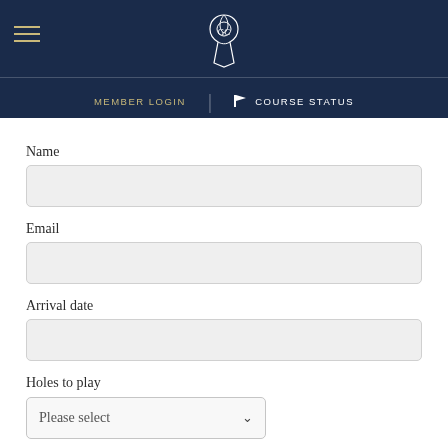Navigation header with logo, hamburger menu, MEMBER LOGIN and COURSE STATUS links
Name
Email
Arrival date
Holes to play
Please select